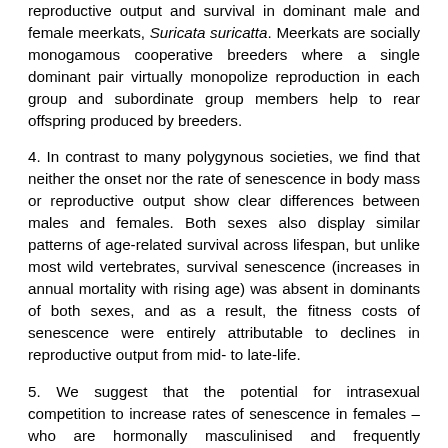reproductive output and survival in dominant male and female meerkats, Suricata suricatta. Meerkats are socially monogamous cooperative breeders where a single dominant pair virtually monopolize reproduction in each group and subordinate group members help to rear offspring produced by breeders.
4. In contrast to many polygynous societies, we find that neither the onset nor the rate of senescence in body mass or reproductive output show clear differences between males and females. Both sexes also display similar patterns of age-related survival across lifespan, but unlike most wild vertebrates, survival senescence (increases in annual mortality with rising age) was absent in dominants of both sexes, and as a result, the fitness costs of senescence were entirely attributable to declines in reproductive output from mid- to late-life.
5. We suggest that the potential for intrasexual competition to increase rates of senescence in females – who are hormonally masculinised and frequently aggressive – is offset by their